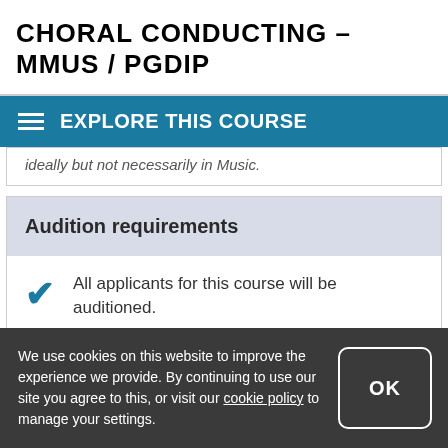CHORAL CONDUCTING - MMUS / PGDIP
EXPLORE THIS COURSE
ideally but not necessarily in Music.
Audition requirements
All applicants for this course will be auditioned.
We use cookies on this website to improve the experience we provide. By continuing to use our site you agree to this, or visit our cookie policy to manage your settings.